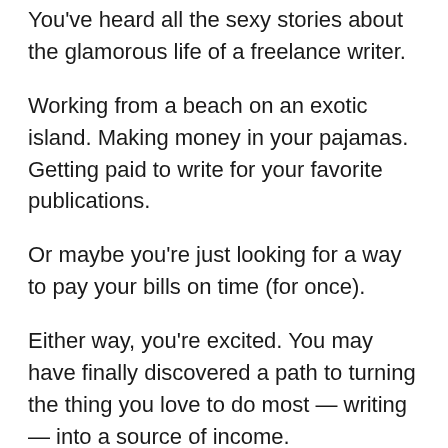You've heard all the sexy stories about the glamorous life of a freelance writer.
Working from a beach on an exotic island. Making money in your pajamas. Getting paid to write for your favorite publications.
Or maybe you're just looking for a way to pay your bills on time (for once).
Either way, you're excited. You may have finally discovered a path to turning the thing you love to do most — writing — into a source of income.
Sounds amazing, right?